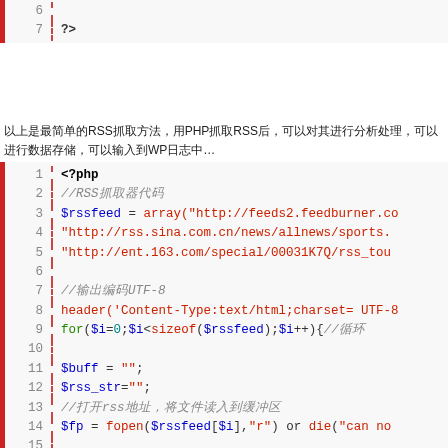[Figure (screenshot): Code block showing PHP lines 6-7 with '?>' on line 7]
以上是最简单的RSS抓取方法，用PHP抓取RSS后，可以对其进行分析处理，可以进行数据存储，可以输入到WP日志中…
[Figure (screenshot): Code block showing PHP lines 1-15 with RSS feed array, header, for loop, buff, rss_str, comment, fopen]